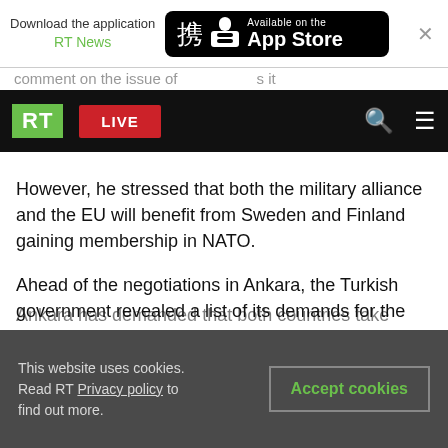[Figure (screenshot): App Store download banner with RT News label and Available on the App Store button]
[Figure (screenshot): RT website navigation bar with green RT logo, red LIVE button, search and menu icons on black background]
However, he stressed that both the military alliance and the EU will benefit from Sweden and Finland gaining membership in NATO.
Ahead of the negotiations in Ankara, the Turkish government revealed a list of its demands for the NATO aspirants. It also made it clear that it wanted written guarantees from Finland and Sweden before their NATO accession can proceed.
Ankara has demanded that both countries take
This website uses cookies. Read RT Privacy policy to find out more.